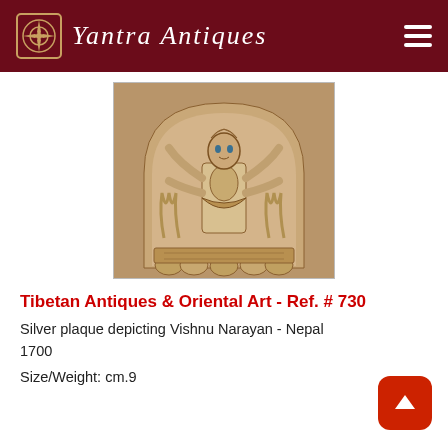Yantra Antiques
[Figure (photo): Silver plaque depicting Vishnu Narayan from Nepal, circa 1700. A large copper/silver repoussé plaque showing a multi-armed deity (Vishnu Narayan) standing within an arched frame with lotus base decoration.]
Tibetan Antiques & Oriental Art - Ref. # 730
Silver plaque depicting Vishnu Narayan - Nepal 1700
Size/Weight: cm.9